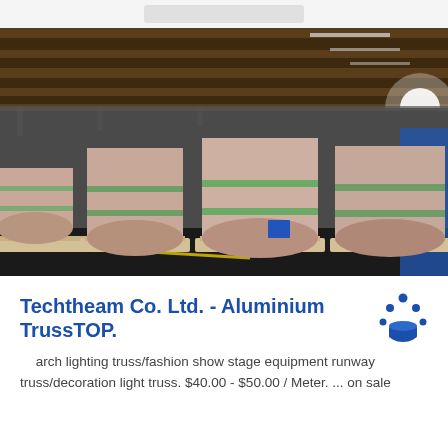[Figure (photo): Industrial warehouse with large cylindrical coils of aluminum or metal wrapped in pink/beige protective paper and secured with green straps, sitting on wooden pallets. The warehouse has a high ceiling with steel beams and bright overhead lighting.]
Techtheam Co. Ltd. - Aluminium TrussTOP.
arch lighting truss/fashion show stage equipment runway truss/decoration light truss. $40.00 - $50.00 / Meter. ... on sale